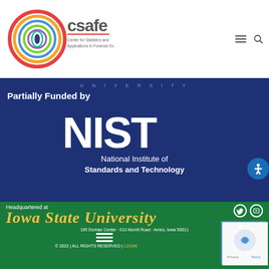[Figure (logo): CSAFE logo with colorful circular icon and text 'Center for Statistics and Applications in Forensic Evidence']
UNIVERSITY
Partially Funded by
[Figure (logo): NIST logo - National Institute of Standards and Technology, white text on dark blue background]
Headquartered at
Iowa State University
195 Durhan Center · 613 Morrill Road · Ames, Iowa 50011
© 2022 | ALL RIGHTS RESERVED | LOGIN